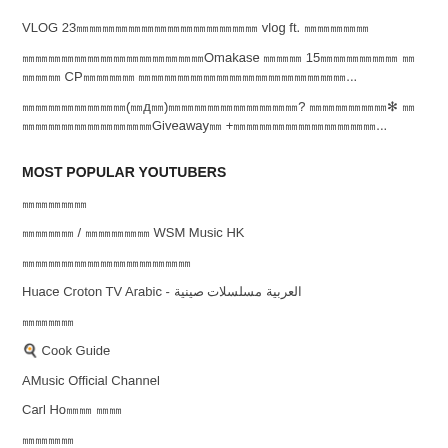VLOG 23㎜㎜㎜㎜㎜㎜㎜㎜㎜㎜㎜㎜㎜㎜ vlog ft. ㎜㎜㎜㎜㎜
㎜㎜㎜㎜㎜㎜㎜㎜㎜㎜㎜㎜㎜㎜Omakase ㎜㎜㎜ 15㎜㎜㎜㎜㎜㎜ ㎜㎜㎜㎜ CP㎜㎜㎜㎜ ㎜㎜㎜㎜㎜㎜㎜㎜㎜㎜㎜㎜㎜㎜㎜㎜...
㎜㎜㎜㎜㎜㎜㎜㎜(㎜д㎜)㎜㎜㎜㎜㎜㎜㎜㎜㎜㎜? ㎜㎜㎜㎜㎜㎜✻ ㎜㎜㎜㎜㎜㎜㎜㎜㎜㎜㎜Giveaway㎜ +㎜㎜㎜㎜㎜㎜㎜㎜㎜㎜㎜...
MOST POPULAR YOUTUBERS
㎜㎜㎜㎜㎜
㎜㎜㎜㎜ / ㎜㎜㎜㎜㎜ WSM Music HK
㎜㎜㎜㎜㎜㎜㎜㎜㎜㎜㎜㎜㎜
Huace Croton TV Arabic - العربية مسلسلات صينية
㎜㎜㎜㎜
🍳 Cook Guide
AMusic Official Channel
Carl Ho㎜㎜ ㎜㎜
㎜㎜㎜㎜